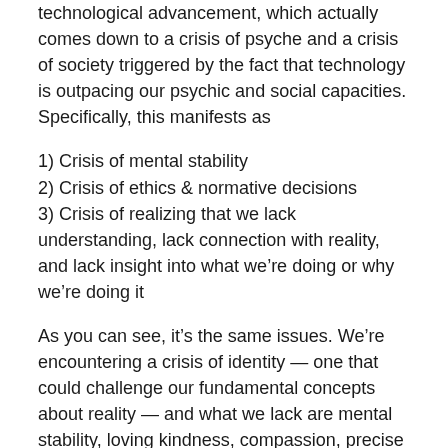technological advancement, which actually comes down to a crisis of psyche and a crisis of society triggered by the fact that technology is outpacing our psychic and social capacities. Specifically, this manifests as
1) Crisis of mental stability
2) Crisis of ethics & normative decisions
3) Crisis of realizing that we lack understanding, lack connection with reality, and lack insight into what we’re doing or why we’re doing it
As you can see, it’s the same issues. We’re encountering a crisis of identity — one that could challenge our fundamental concepts about reality — and what we lack are mental stability, loving kindness, compassion, precise understanding and insight. It’s the same situation, with the same solution.